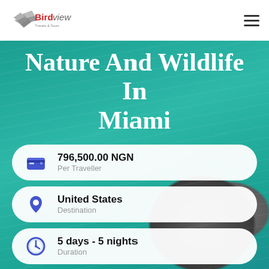[Figure (logo): Birdview Travels & Tours logo with stylized bird/arrow mark in grey and red text]
Nature And Wildlife In Miami
796,500.00 NGN
Per Traveller
United States
Destination
5 days - 5 nights
Duration